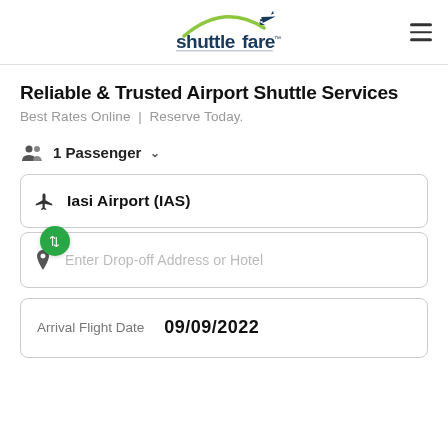[Figure (logo): Shuttlefare logo with airplane icon and green/blue arch above text]
Reliable & Trusted Airport Shuttle Services
Best Rates Online | Reserve Today.
👥 1 Passenger ∨
✈ Iasi Airport (IAS)
📍 Enter Drop-off Address or Hotel
Arrival Flight Date  09/09/2022